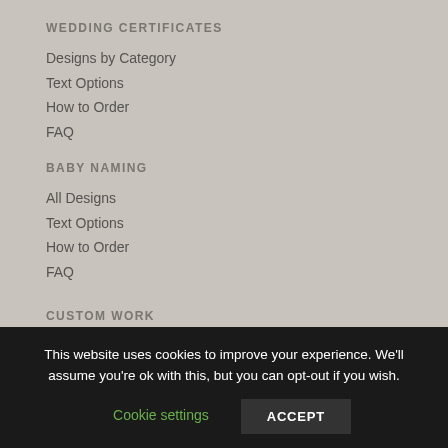WEDDING CERTIFICATES
Designs by Category
Text Options
How to Order
FAQ
BABY NAMING
All Designs
Text Options
How to Order
FAQ
CUSTOM WORK
Portfolio
This website uses cookies to improve your experience. We'll assume you're ok with this, but you can opt-out if you wish.
Cookie settings | ACCEPT